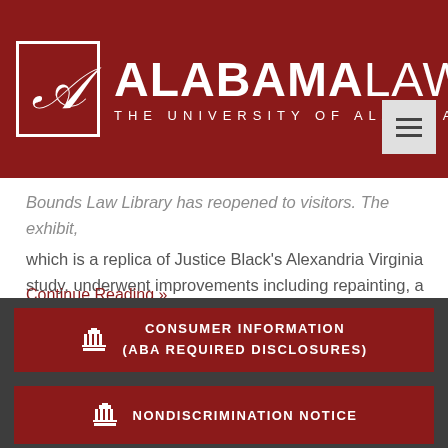[Figure (logo): Alabama Law - The University of Alabama logo with crimson background, script A in white box, and ALABAMALAW text]
Bounds Law Library has reopened to visitors. The exhibit, which is a replica of Justice Black's Alexandria Virginia study, underwent improvements including repainting, a new ceiling, and redesigned lighting. The collection is located in room 211 in the library.
Continue Reading »
CONSUMER INFORMATION (ABA REQUIRED DISCLOSURES)
NONDISCRIMINATION NOTICE